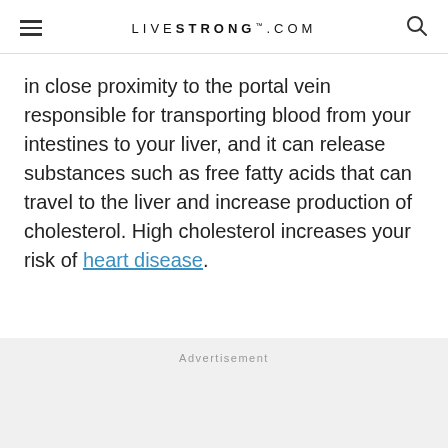LIVESTRONG.COM
in close proximity to the portal vein responsible for transporting blood from your intestines to your liver, and it can release substances such as free fatty acids that can travel to the liver and increase production of cholesterol. High cholesterol increases your risk of heart disease.
Advertisement